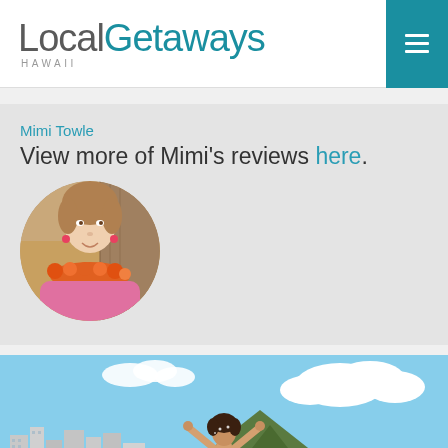LocalGetaways HAWAII
Mimi Towle
View more of Mimi's reviews here.
[Figure (photo): Circular profile photo of Mimi Towle wearing a lei and pink top]
[Figure (photo): Woman with arms raised on Waikiki Beach with Diamond Head and Honolulu skyline in background]